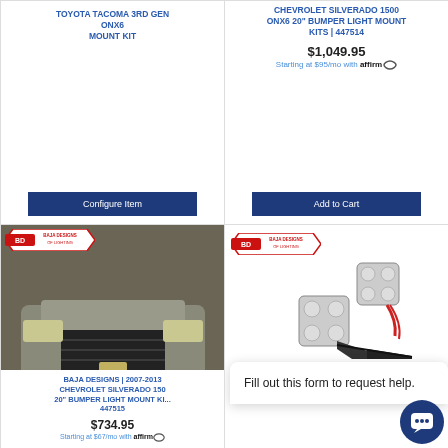TOYOTA TACOMA 3RD GEN ONX6 MOUNT KIT
Configure Item
CHEVROLET SILVERADO 1500 ONX6 20" BUMPER LIGHT MOUNT KITS | 447514
$1,049.95
Starting at $95/mo with affirm
Add to Cart
[Figure (photo): Baja Designs branded photo of a Chevrolet Silverado 1500 truck with bumper light mounted, front view in garage]
BAJA DESIGNS | 2007-2013 CHEVROLET SILVERADO 1500 20" BUMPER LIGHT MOUNT KIT | 447515
$734.95
Starting at $67/mo with affirm
[Figure (photo): Baja Designs product photo showing two square LED lights and mounting bracket hardware kit on white background]
KITS
Fill out this form to request help.